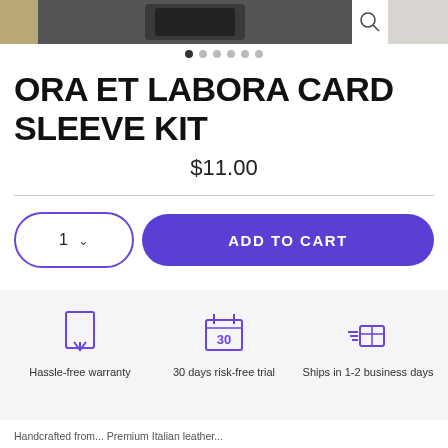[Figure (screenshot): Product image carousel showing a dark card sleeve kit, with left wood-texture thumbnail and right text thumbnail]
• • • • • •  (pagination dots, first active)
ORA ET LABORA CARD SLEEVE KIT
$11.00
[Figure (infographic): Three icons: bookmark/warranty icon, calendar '30' icon, shipping box icon with motion lines]
Hassle-free warranty   30 days risk-free trial   Ships in 1-2 business days